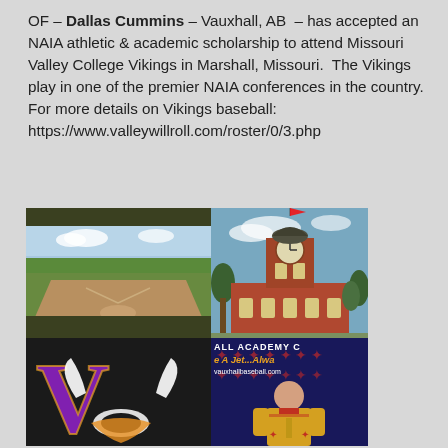OF – Dallas Cummins – Vauxhall, AB – has accepted an NAIA athletic & academic scholarship to attend Missouri Valley College Vikings in Marshall, Missouri. The Vikings play in one of the premier NAIA conferences in the country. For more details on Vikings baseball: https://www.valleywillroll.com/roster/0/3.php
[Figure (photo): A 2x2 collage of four images: top-left shows a baseball diamond/field with green grass and infield dirt; top-right shows a red brick building with a clock tower (Missouri Valley College campus); bottom-left shows the Missouri Valley College Vikings purple 'V' logo with a Viking mascot; bottom-right shows a player in a yellow/gold jersey posing in front of a Vauxhall baseball banner with text 'ALL ACADEMY', 'A Jet...Always' and 'vauxhallbaseball.com'.]